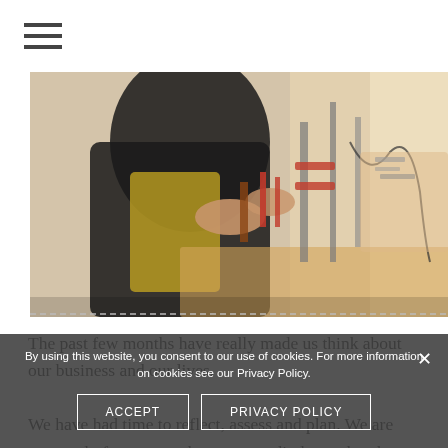☰ (hamburger menu icon)
[Figure (photo): A person working at a craft/maker workbench in a studio, handling tools and materials, with wooden furniture and equipment in the background. Warm natural light from the right side.]
The past few months have really made us think about our business and our lives.

We have had time to reflect, assess and plan. We are extremely fortunate to have our studio located at the end of our garden in the foothills of Connemara. So we were never too far from our tools, our materials and our cosy little workspace.

This provided a little haven
By using this website, you consent to our use of cookies. For more information on cookies see our Privacy Policy.
ACCEPT
PRIVACY POLICY